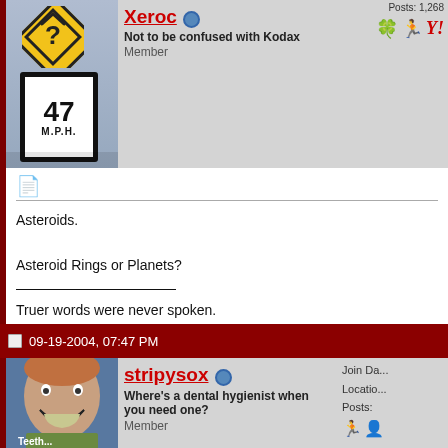[Figure (photo): Road sign avatar: yellow diamond warning sign with question mark arrow, below is a speed limit sign showing 47 M.P.H.]
Xeroc
Not to be confused with Kodax
Member
Posts: 1,268
Asteroids.

Asteroid Rings or Planets?
Truer words were never spoken.

Xeroc Central

5MChat: PHP/JS Chat 2.0
Click here to view the chat in progress!
09-19-2004, 07:47 PM
[Figure (photo): Photo of a person with an exaggerated smile showing teeth, with caption 'Teeth...']
stripysox
Where's a dental hygienist when you need one?
Member
Join Da...
Locatio...
Posts: